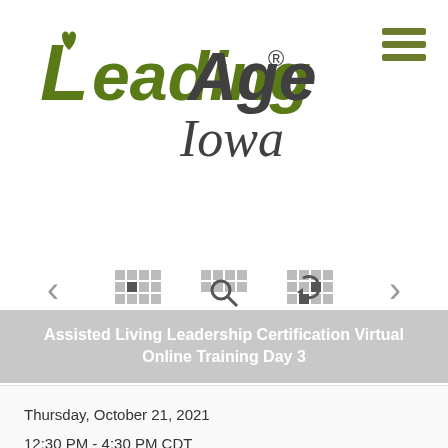[Figure (logo): LeadingAge Iowa logo with stylized green heart/letter L and dark gray text reading LeadingAge with Iowa in script below]
[Figure (other): Hamburger menu icon: three horizontal olive/dark-green bars]
[Figure (other): Navigation bar with calendar icons for Prev Month, View Month, Search, Go to Month, Next Month]
Assisted Living Leadership Certification Virtual Online Training Day 3
Thursday, October 21, 2021
12:30 PM - 4:30 PM CDT
Category: Education Trainings